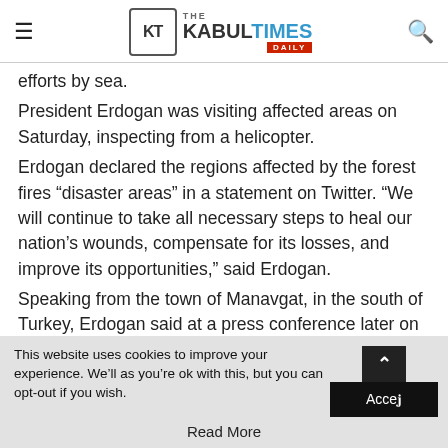THE KABUL TIMES DAILY
efforts by sea.
President Erdogan was visiting affected areas on Saturday, inspecting from a helicopter.
Erdogan declared the regions affected by the forest fires “disaster areas” in a statement on Twitter. “We will continue to take all necessary steps to heal our nation’s wounds, compensate for its losses, and improve its opportunities,” said Erdogan.
Speaking from the town of Manavgat, in the south of Turkey, Erdogan said at a press conference later on Saturday that while Ankara was not looking to politicise the incident, it was also “considering the possibility of sabotage” and an investigation was under way to
This website uses cookies to improve your experience. We’ll as you’re ok with this, but you can opt-out if you wish.
Read More